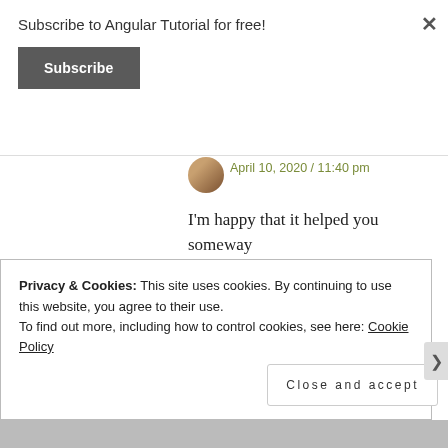Subscribe to Angular Tutorial for free!
Subscribe
×
April 10, 2020 / 11:40 pm
I'm happy that it helped you someway
★ Like
↩ Reply
Privacy & Cookies: This site uses cookies. By continuing to use this website, you agree to their use.
To find out more, including how to control cookies, see here: Cookie Policy
Close and accept